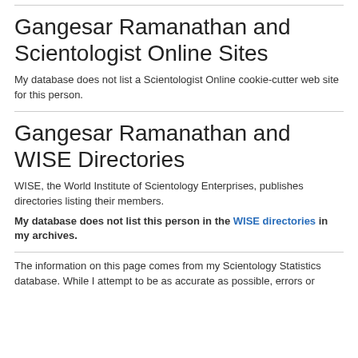Gangesar Ramanathan and Scientologist Online Sites
My database does not list a Scientologist Online cookie-cutter web site for this person.
Gangesar Ramanathan and WISE Directories
WISE, the World Institute of Scientology Enterprises, publishes directories listing their members.
My database does not list this person in the WISE directories in my archives.
The information on this page comes from my Scientology Statistics database. While I attempt to be as accurate as possible, errors or